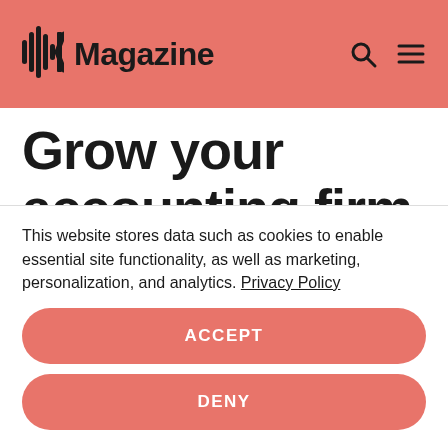Magazine
Grow your accounting firm sustainably with the
This website stores data such as cookies to enable essential site functionality, as well as marketing, personalization, and analytics. Privacy Policy
ACCEPT
DENY